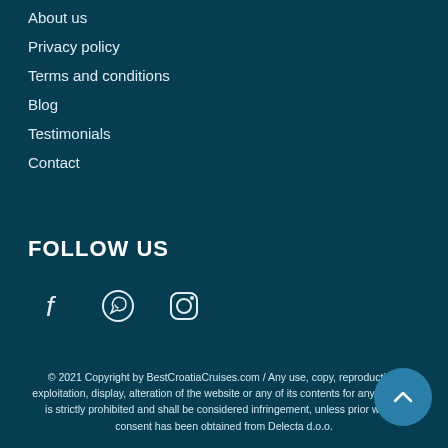About us
Privacy policy
Terms and conditions
Blog
Testimonials
Contact
FOLLOW US
[Figure (infographic): Social media icons: Facebook, WhatsApp, Instagram]
© 2021 Copyright by BestCroatiaCruises.com / Any use, copy, reproduction, exploitation, display, alteration of the website or any of its contents for any purpose is strictly prohibited and shall be considered infringement, unless prior written consent has been obtained from Delecta d.o.o.